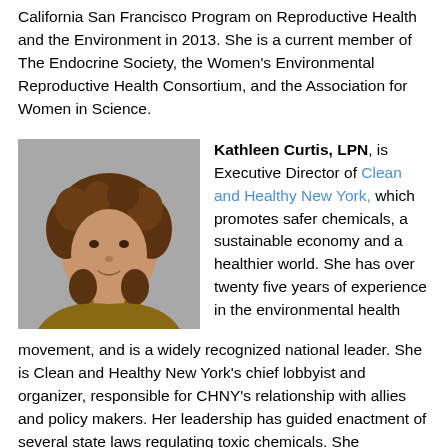California San Francisco Program on Reproductive Health and the Environment in 2013. She is a current member of The Endocrine Society, the Women's Environmental Reproductive Health Consortium, and the Association for Women in Science.
[Figure (photo): Headshot photo of Kathleen Curtis, LPN — a woman with curly brown hair, wearing a tan/brown top, against a neutral gray background.]
Kathleen Curtis, LPN, is Executive Director of Clean and Healthy New York, which promotes safer chemicals, a sustainable economy and a healthier world. She has over twenty five years of experience in the environmental health movement, and is a widely recognized national leader. She is Clean and Healthy New York's chief lobbyist and organizer, responsible for CHNY's relationship with allies and policy makers. Her leadership has guided enactment of several state laws regulating toxic chemicals. She coordinates the JustGreen Partnership, the Alliance for Toxic-free Fire Safety and the Coming Clean Collaborative's Policy Workgroup, a forum on local, state, national, international and market policy that protects people from toxic chemicals. She is also on the steering committees of the Safer Chemicals, Healthy Families